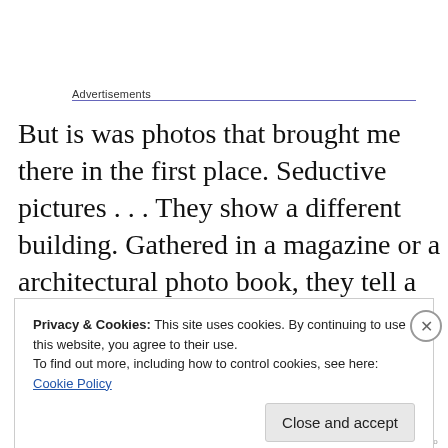Advertisements
But is was photos that brought me there in the first place. Seductive pictures . . . They show a different building. Gathered in a magazine or a architectural photo book, they tell a story, they are an argument. And when you go out, you look for that story in the first place. Photos can have a strong influence; when visiting the building, the impression of these images is overlaid on what actually
Privacy & Cookies: This site uses cookies. By continuing to use this website, you agree to their use.
To find out more, including how to control cookies, see here: Cookie Policy
Close and accept
hippocritical.co